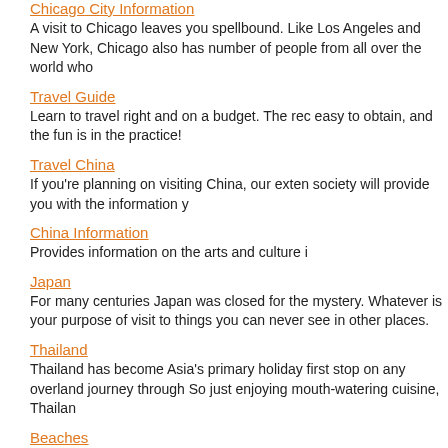Chicago City Information
A visit to Chicago leaves you spellbound. Like Los Angeles and New York, Chicago also has number of people from all over the world who
Travel Guide
Learn to travel right and on a budget. The rec easy to obtain, and the fun is in the practice!
Travel China
If you're planning on visiting China, our exten society will provide you with the information y
China Information
Provides information on the arts and culture i
Japan
For many centuries Japan was closed for the mystery. Whatever is your purpose of visit to things you can never see in other places.
Thailand
Thailand has become Asia's primary holiday first stop on any overland journey through So just enjoying mouth-watering cuisine, Thailan
Beaches
Beach resorts are the dream vacation for ma swimming pools, and molten sunsets. Our be breathtaking beaches around the world.